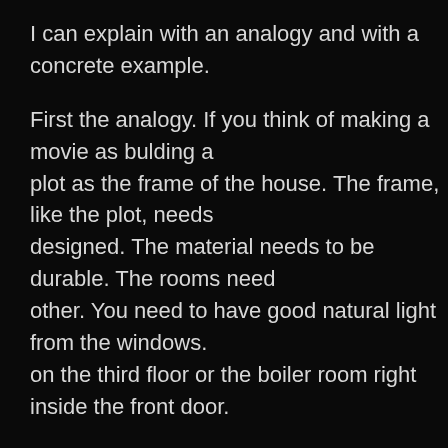I can explain with an analogy and with a concrete example.
First the analogy. If you think of making a movie as bulding a plot as the frame of the house. The frame, like the plot, needs designed. The material needs to be durable. The rooms need other. You need to have good natural light from the windows. on the third floor or the boiler room right inside the front door.
But all of that by itself doesn't make a house you want to live again. That takes the right color of paint, comfortable and aes maybe some ornamental fixtures, or some stained glass on th on the walls, a nice carpet, a modern, clean and efficient kitch Those are the things that make a house a home. Those thing
A concrete example:
We all know the film The Godfather (if not – and do I even ne